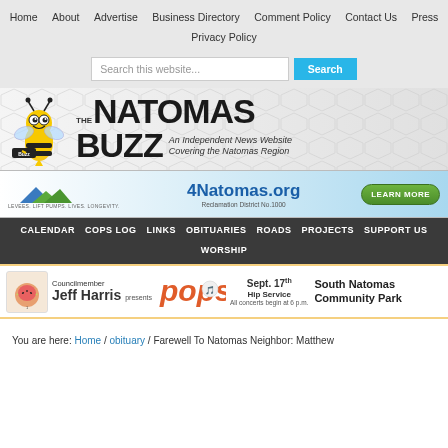Home | About | Advertise | Business Directory | Comment Policy | Contact Us | Press | Privacy Policy
[Figure (screenshot): Search bar with text 'Search this website...' and a blue Search button]
[Figure (logo): The Natomas Buzz logo with cartoon bee and tagline 'An Independent News Website Covering the Natomas Region']
[Figure (infographic): 4Natomas.org advertisement banner for Reclamation District No. 1000 with Learn More button]
CALENDAR | COPS LOG | LINKS | OBITUARIES | ROADS | PROJECTS | SUPPORT US | WORSHIP
[Figure (infographic): Event banner: Councilmember Jeff Harris presents pops concert, Sept. 17th, Hip Service, All concerts begin at 6 p.m., South Natomas Community Park]
You are here: Home / obituary / Farewell To Natomas Neighbor: Matthew